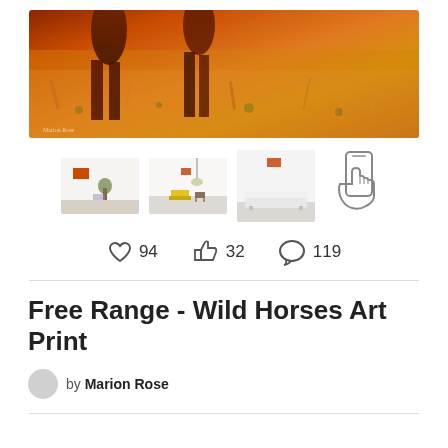[Figure (photo): Panoramic oil painting of wild horses running through orange and golden fields, signed by Marion Rose]
[Figure (photo): Three room mockup thumbnails showing artwork on wall, plus a phone/AR icon]
94  32  119
Free Range - Wild Horses Art Print
by Marion Rose